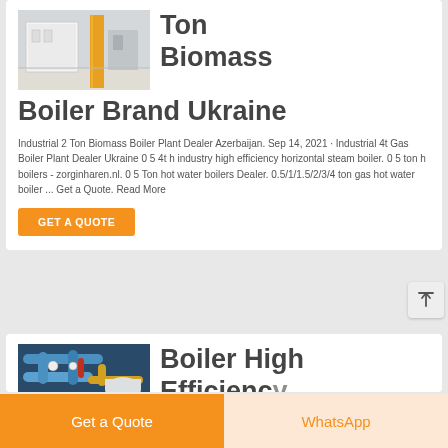[Figure (photo): Industrial boiler equipment in a warehouse/factory setting with yellow pillars]
Ton Biomass Boiler Brand Ukraine
Industrial 2 Ton Biomass Boiler Plant Dealer Azerbaijan. Sep 14, 2021 · Industrial 4t Gas Boiler Plant Dealer Ukraine 0 5 4t h industry high efficiency horizontal steam boiler. 0 5 ton h boilers - zorginharen.nl. 0 5 Ton hot water boilers Dealer. 0.5/1/1.5/2/3/4 ton gas hot water boiler ... Get a Quote. Read More
GET A QUOTE
[Figure (photo): Industrial boiler room with blue pipes and yellow gas pipes]
Boiler High Efficiency
Get a Quote
WhatsApp